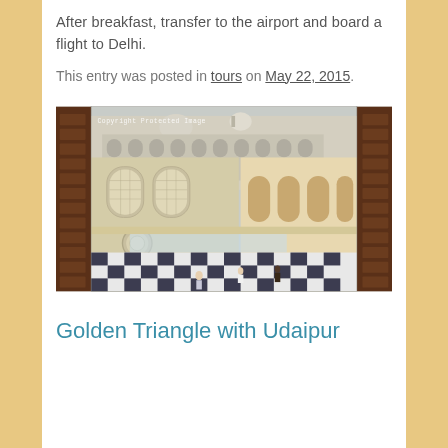After breakfast, transfer to the airport and board a flight to Delhi.
This entry was posted in tours on May 22, 2015.
[Figure (photo): Interior courtyard of an ornate Indian palace (likely City Palace, Udaipur) viewed through wooden shuttered doors, showing intricate marble lattice work, arched colonnades, and a black-and-white checkered floor with tourists walking around. Watermark reads 'Copyright Protected Image'.]
Golden Triangle with Udaipur